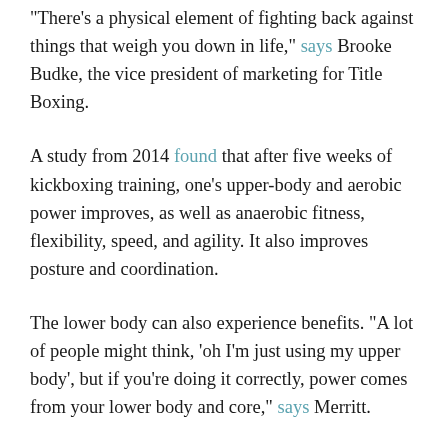“There’s a physical element of fighting back against things that weigh you down in life,” says Brooke Budke, the vice president of marketing for Title Boxing.
A study from 2014 found that after five weeks of kickboxing training, one’s upper-body and aerobic power improves, as well as anaerobic fitness, flexibility, speed, and agility. It also improves posture and coordination.
The lower body can also experience benefits. “A lot of people might think, ‘oh I’m just using my upper body’, but if you’re doing it correctly, power comes from your lower body and core,” says Merritt.
A bonus is that kickboxing is a great way to learn self-defence as it can teach you basic skills and